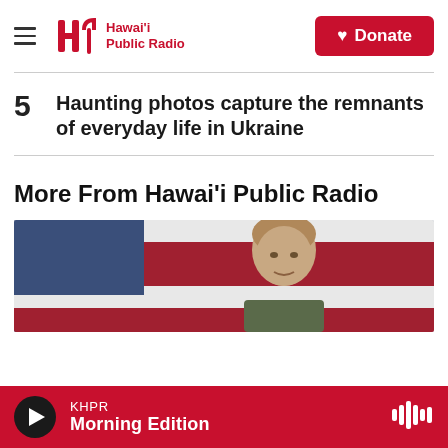Hawai'i Public Radio — Donate
5  Haunting photos capture the remnants of everyday life in Ukraine
More From Hawai'i Public Radio
[Figure (photo): A man standing in front of a flag with blue, red and white stripes]
KHPR — Morning Edition